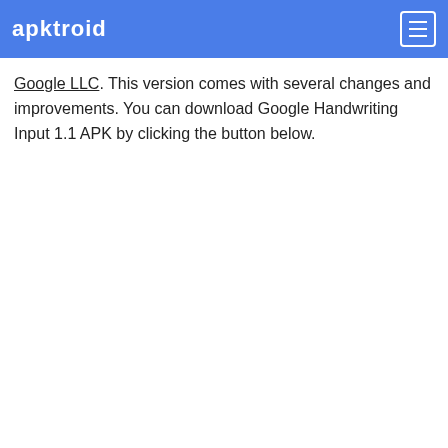apktroid
Google LLC. This version comes with several changes and improvements. You can download Google Handwriting Input 1.1 APK by clicking the button below.